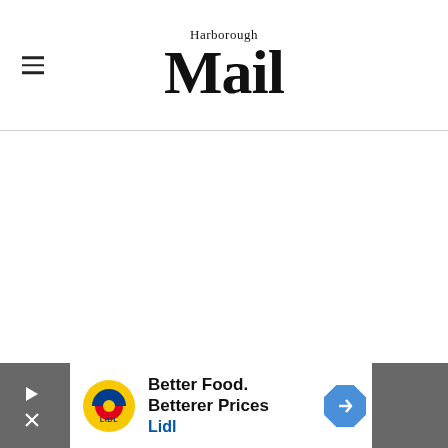Harborough Mail
[Figure (other): Advertisement banner for Lidl: 'Better Food. Betterer Prices' with Lidl logo and blue diamond arrow icon]